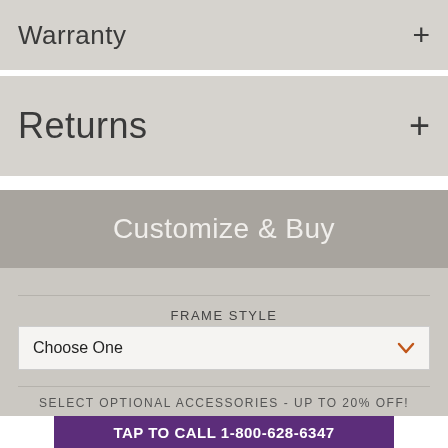Warranty +
Returns +
Customize & Buy
FRAME STYLE
Choose One
SELECT OPTIONAL ACCESSORIES - UP TO 20% OFF!
TAP TO CALL 1-800-628-6347